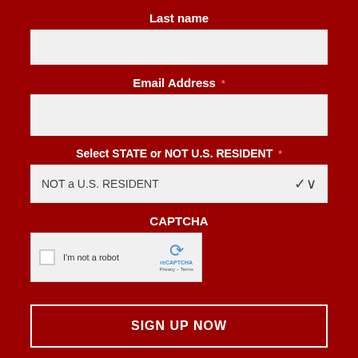Last name
Email Address *
Select STATE or NOT U.S. RESIDENT *
NOT a U.S. RESIDENT
CAPTCHA
[Figure (other): reCAPTCHA widget with checkbox labeled 'I'm not a robot']
SIGN UP NOW